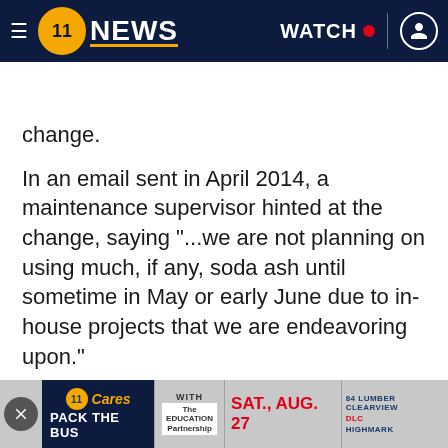NEWS | WATCH | [user icon]
BREAKING NEWS | Highland Park Bridge ramp in Aspinwall to reopen Wednesday
change.
In an email sent in April 2014, a maintenance supervisor hinted at the change, saying "...we are not planning on using much, if any, soda ash until sometime in May or early June due to in-house projects that we are endeavoring upon."
Three months later in July, another email from another maintenance supervisor: "Here is the first draft of the letter we spoke about using caustic versus soda ash. After we spoke about letting every... that we sh... more
[Figure (screenshot): Advertisement banner: WPXI Cares Pack the Bus event on SAT., AUG. 27 with Education Partnership, 84 Lumber Clearview, DLC, and Highmark sponsors]